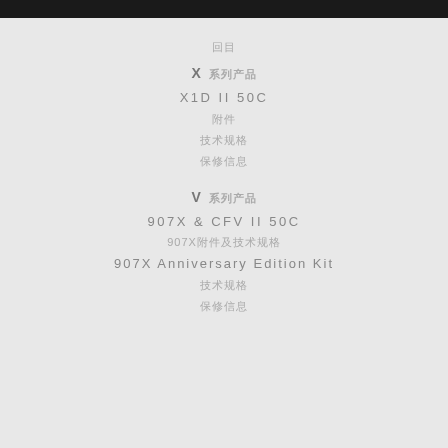目录
X 系列产品
X1D II 50C
附件
技术规格
保修信息
V 系列产品
907X & CFV II 50C
907X附件及技术规格
907X Anniversary Edition Kit
技术规格
保修信息